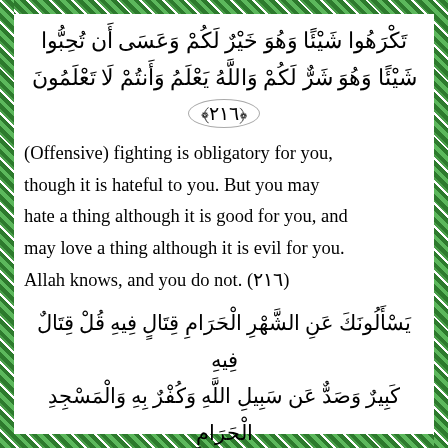تَكْرَهُوا شَيْئًا وَهُوَ خَيْرٌ لَكُمْ وَعَسَى أَن تُحِبُّوا شَيْئًا وَهُوَ شَرٌّ لَكُمْ وَاللَّهُ يَعْلَمُ وَأَنتُمْ لَا تَعْلَمُونَ
﴿٢١٦﴾
(Offensive) fighting is obligatory for you, though it is hateful to you. But you may hate a thing although it is good for you, and may love a thing although it is evil for you. Allah knows, and you do not. (٢١٦)
يَسْأَلُونَكَ عَنِ الشَّهْرِ الْحَرَامِ قِتَالٍ فِيهِ قُلْ قِتَالٌ فِيهِ كَبِيرٌ وَصَدٌّ عَن سَبِيلِ اللَّهِ وَكُفْرٌ بِهِ وَالْمَسْجِدِ الْحَرَامِ